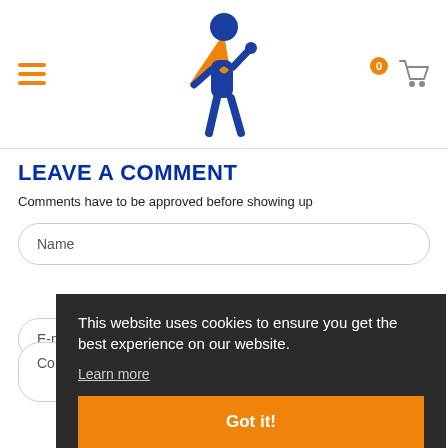[Figure (logo): Superhero figure logo: blue stick person with orange cape and orange shield badge on chest, posed heroically]
[Figure (illustration): Hamburger menu icon with three orange horizontal lines on the left]
[Figure (illustration): Shopping cart icon with orange badge showing 0 on the right]
LEAVE A COMMENT
Comments have to be approved before showing up
Name
E-mail
Comment
This website uses cookies to ensure you get the best experience on our website.
Learn more
Got it!